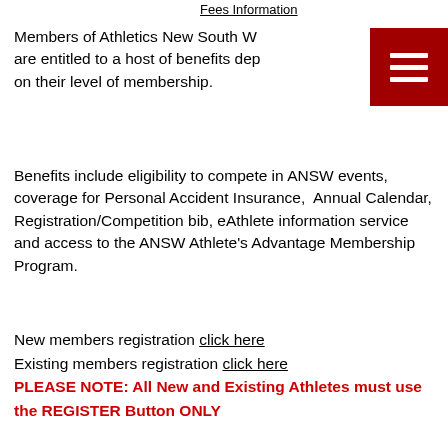Fees Information
Members of Athletics New South Wales are entitled to a host of benefits depending on their level of membership.
Benefits include eligibility to compete in ANSW events, coverage for Personal Accident Insurance, Annual Calendar, Registration/Competition bib, eAthlete information service and access to the ANSW Athlete's Advantage Membership Program.
New members registration click here
Existing members registration click here
PLEASE NOTE: All New and Existing Athletes must use the REGISTER Button ONLY
For athletes who want to transfer clubs (only use once registered with a club): ANSW Club Transfer Form
3 Major Registration CATEGORIES: